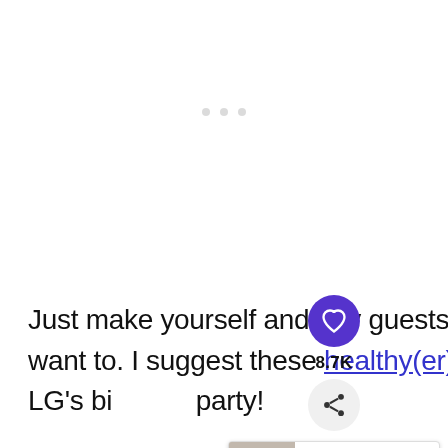[Figure (other): Three light gray dots placeholder indicating a loading or ad area at the top center of the page]
Just make yourself and any guests a different treat to enjoy, if you want to. I suggest these healthy(er) vanilla cupcakes that I made for LG's bi[rthday] party!
[Figure (other): Heart/like button (purple circle with white heart icon), share button (light gray circle with share icon), and a 'WHAT'S NEXT' banner showing 'DIY High Contrast Ba...' with a thumbnail image]